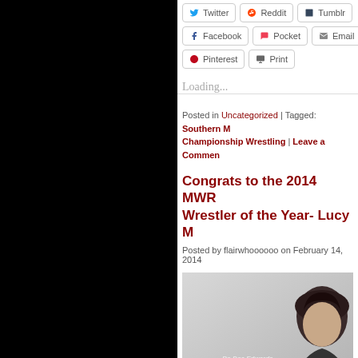Share buttons row: Twitter, Reddit, Tumblr
Share buttons row: Facebook, Pocket, Email
Share buttons row: Pinterest, Print
Loading...
Posted in Uncategorized | Tagged: Southern Championship Wrestling | Leave a Comment
Congrats to the 2014 MWR Wrestler of the Year- Lucy M
Posted by flairwhoooooo on February 14, 2014
[Figure (photo): Black and white photo of a young woman with dark hair, with 'Ro Doc Edwards PHOTOGRAPHY' watermark]